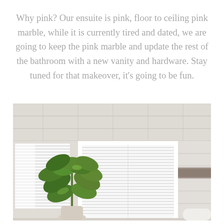Why pink? Our ensuite is pink, floor to ceiling pink marble, while it is currently tired and dated, we are going to keep the pink marble and update the rest of the bathroom with a new vanity and hardware. Stay tuned for that makeover, it's going to be fun.
[Figure (photo): A bright bathroom interior with light pink/white marble tile walls, a window with white horizontal blinds, a green leafy potted plant (fiddle-leaf fig) in the left foreground, and a glimpse of the bathroom fixtures on the right side.]